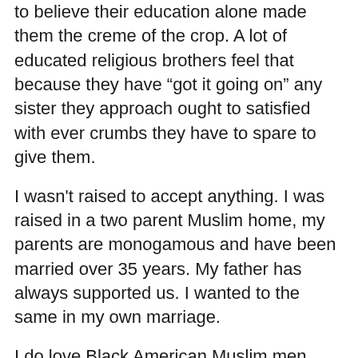to believe their education alone made them the creme of the crop. A lot of educated religious brothers feel that because they have “got it going on” any sister they approach ought to satisfied with ever crumbs they have to spare to give them.
I wasn't raised to accept anything. I was raised in a two parent Muslim home, my parents are monogamous and have been married over 35 years. My father has always supported us. I wanted to the same in my own marriage.
I do love Black American Muslim men, Mashallah. But as Allah would have it, I am not married to one. My husband is a Yemenese man and like myself he is educated. Alhamduleelah,